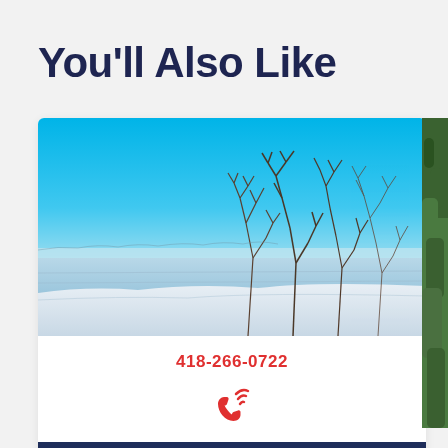You'll Also Like
[Figure (photo): Winter landscape photo showing a frozen or icy river/lake with bare trees in the foreground and a clear blue sky]
418-266-0722
[Figure (illustration): Red phone/call icon with wifi signal waves]
VISIT WEBSITE